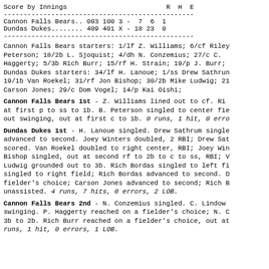| Score by Innings |  |  | R | H | E |
| --- | --- | --- | --- | --- | --- |
| Cannon Falls Bears.. 003 100 3 - |  |  | 7 | 6 | 1 |
| Dundas Dukes........ 409 401 X - |  |  | 18 | 23 | 0 |
Cannon Falls Bears starters: 1/lf Z. Williams; 6/cf Riley Peterson; 18/2b L. Sjoquist; 4/dh N. Conzemius; 27/c C. Haggerty; 5/3b Rich Burr; 15/rf H. Strain; 19/p J. Burr; Dundas Dukes starters: 34/lf H. Lanoue; 1/ss Drew Sathrum; 19/1b Van Roekel; 31/rf Jon Bishop; 30/2b Mike Ludwig; 21 Carson Jones; 29/c Dom Vogel; 14/p Kai Oishi;
Cannon Falls Bears 1st - Z. Williams lined out to cf. Riley at first p to ss to 1b. B. Peterson singled to center field out swinging, out at first c to 1b. 0 runs, 1 hit, 0 errors
Dundas Dukes 1st - H. Lanoue singled. Drew Sathrum singled advanced to second. Joey Winters doubled, 2 RBI; Drew Sathrum scored. Van Roekel doubled to right center, RBI; Joey Winters Bishop singled, out at second rf to 2b to c to ss, RBI; Ludwig grounded out to 3b. Rich Bordas singled to left field; singled to right field; Rich Bordas advanced to second. fielder's choice; Carson Jones advanced to second; Rich Bordas unassisted. 4 runs, 7 hits, 0 errors, 2 LOB.
Cannon Falls Bears 2nd - N. Conzemius singled. C. Lindow swinging. P. Haggerty reached on a fielder's choice; N. C 3b to 2b. Rich Burr reached on a fielder's choice, out at runs, 1 hit, 0 errors, 1 LOB.